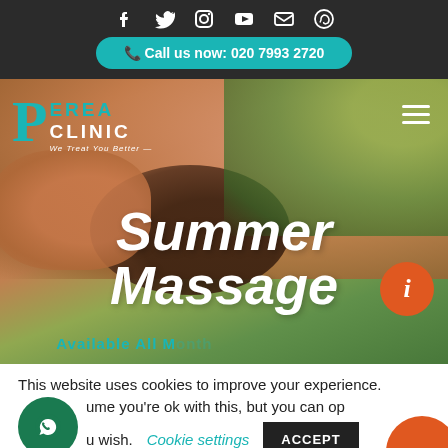Social icons: Facebook, Twitter, Instagram, YouTube, Email, WhatsApp
Call us now: 020 7993 2720
[Figure (photo): Hero image of a person receiving a massage with hands on their head/neck, outdoor background with green foliage. Perea Clinic logo overlay with teal P letter and white text reading PEREA CLINIC - We Treat You Better. Hamburger menu icon top right.]
Summer Massage
Available All Month
This website uses cookies to improve your experience. We assume you're ok with this, but you can opt-out if you wish.
Cookie settings
ACCEPT